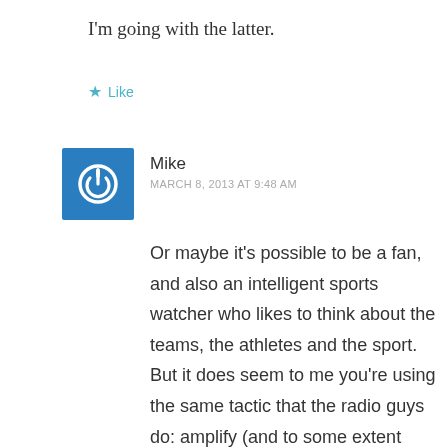I'm going with the latter.
★ Like
Mike
MARCH 8, 2013 AT 9:48 AM
Or maybe it's possible to be a fan, and also an intelligent sports watcher who likes to think about the teams, the athletes and the sport. But it does seem to me you're using the same tactic that the radio guys do: amplify (and to some extent create) the divisions. Just like when I listen to